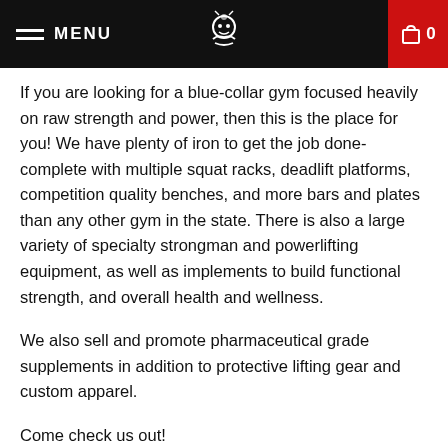MENU  0
If you are looking for a blue-collar gym focused heavily on raw strength and power, then this is the place for you! We have plenty of iron to get the job done- complete with multiple squat racks, deadlift platforms, competition quality benches, and more bars and plates than any other gym in the state. There is also a large variety of specialty strongman and powerlifting equipment, as well as implements to build functional strength, and overall health and wellness.
We also sell and promote pharmaceutical grade supplements in addition to protective lifting gear and custom apparel.
Come check us out!